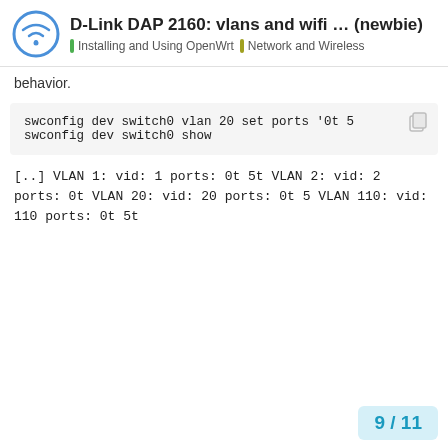D-Link DAP 2160: vlans and wifi ... (newbie) | Installing and Using OpenWrt | Network and Wireless
behavior.
swconfig dev switch0 vlan 20 set ports '0t 5
swconfig dev switch0 show
[..]

VLAN 1:
    vid: 1
    ports: 0t 5t
VLAN 2:
    vid: 2
    ports: 0t
VLAN 20:
    vid: 20
    ports: 0t 5
VLAN 110:
    vid: 110
    ports: 0t 5t
9 / 11